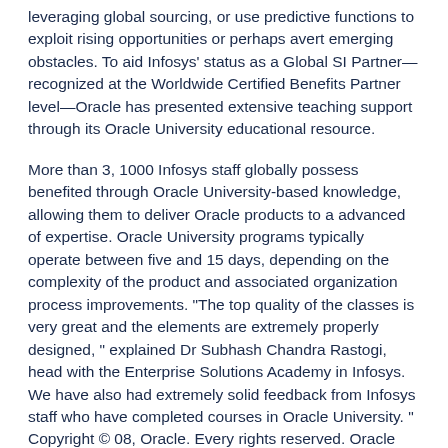leveraging global sourcing, or use predictive functions to exploit rising opportunities or perhaps avert emerging obstacles. To aid Infosys' status as a Global SI Partner—recognized at the Worldwide Certified Benefits Partner level—Oracle has presented extensive teaching support through its Oracle University educational resource.
More than 3, 1000 Infosys staff globally possess benefited through Oracle University-based knowledge, allowing them to deliver Oracle products to a advanced of expertise. Oracle University programs typically operate between five and 15 days, depending on the complexity of the product and associated organization process improvements. "The top quality of the classes is very great and the elements are extremely properly designed, " explained Dr Subhash Chandra Rastogi, head with the Enterprise Solutions Academy in Infosys. We have also had extremely solid feedback from Infosys staff who have completed courses in Oracle University. " Copyright © 08, Oracle. Every rights reserved. Oracle can be described as registered trademark of Oracle Corporation and/or its affiliates. Other titles may be logos of their individual owners. Printed February 08 Infosys Technologies Ltd Bangalore, India www. infosys. com Industry: